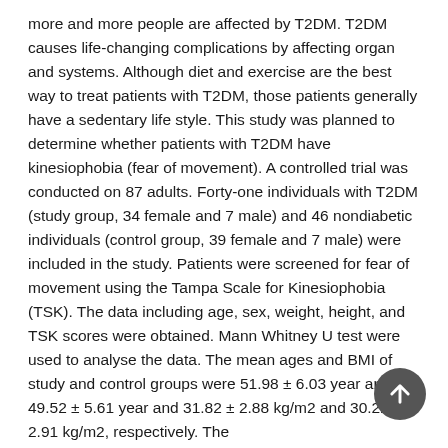more and more people are affected by T2DM. T2DM causes life-changing complications by affecting organ and systems. Although diet and exercise are the best way to treat patients with T2DM, those patients generally have a sedentary life style. This study was planned to determine whether patients with T2DM have kinesiophobia (fear of movement). A controlled trial was conducted on 87 adults. Forty-one individuals with T2DM (study group, 34 female and 7 male) and 46 nondiabetic individuals (control group, 39 female and 7 male) were included in the study. Patients were screened for fear of movement using the Tampa Scale for Kinesiophobia (TSK). The data including age, sex, weight, height, and TSK scores were obtained. Mann Whitney U test were used to analyse the data. The mean ages and BMI of study and control groups were 51.98 ± 6.03 year and 49.52 ± 5.61 year and 31.82 ± 2.88 kg/m2 and 30.22 ± 2.91 kg/m2, respectively. The